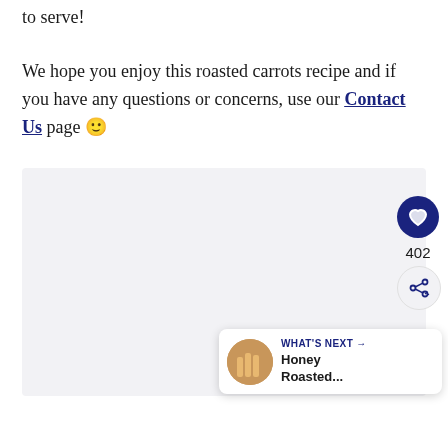to serve!
We hope you enjoy this roasted carrots recipe and if you have any questions or concerns, use our Contact Us page 🙂
[Figure (other): Advertisement or placeholder gray box area]
[Figure (other): Social media widget with heart/like button showing count 402, share button, and 'WHAT'S NEXT' recommendation widget showing Honey Roasted... with a food thumbnail image]